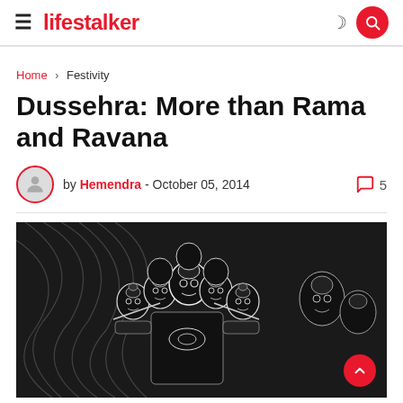lifestalker
Home > Festivity
Dussehra: More than Rama and Ravana
by Hemendra - October 05, 2014   5
[Figure (illustration): Black and white detailed ink sketch illustration of Ravana with multiple heads and ornate crowns, depicted with intricate patterns and dynamic swirling lines in the background.]